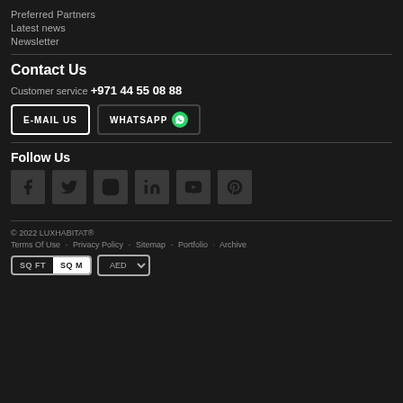Preferred Partners
Latest news
Newsletter
Contact Us
Customer service +971 44 55 08 88
E-MAIL US    WHATSAPP
Follow Us
[Figure (infographic): Social media icons: Facebook, Twitter, Instagram, LinkedIn, YouTube, Pinterest]
© 2022 LUXHABITAT®
Terms Of Use  -  Privacy Policy  -  Sitemap  -  Portfolio  ·  Archive
SQ FT  SQ M    AED